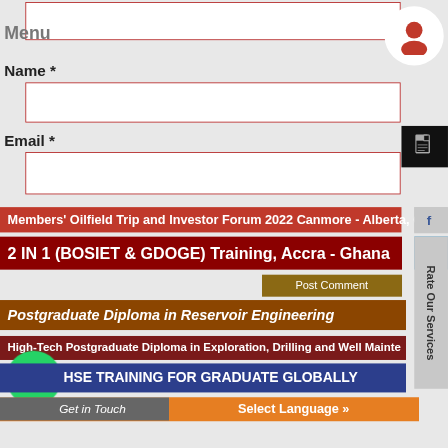Menu
Name *
Email *
Members' Oilfield Trip and Investor Forum 2022 Canmore - Alberta, Canada
2 IN 1 (BOSIET & GDOGE) Training, Accra - Ghana
Post Comment
Postgraduate Diploma in Reservoir Engineering
High-Tech Postgraduate Diploma in Exploration, Drilling and Well Maintenance
HSE TRAINING FOR GRADUATE GLOBALLY
Get in Touch
Select Language »